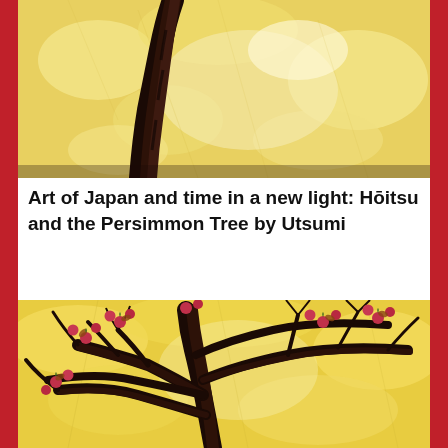[Figure (illustration): Close-up painting of a dark, gnarled tree trunk against a golden-yellow textured background with pale areas, Japanese-style artwork]
Art of Japan and time in a new light: Hōitsu and the Persimmon Tree by Utsumi
[Figure (illustration): Painting of a persimmon tree with dark twisted branches bearing small red-pink berries/fruits against a golden-yellow textured background, Japanese-style artwork]